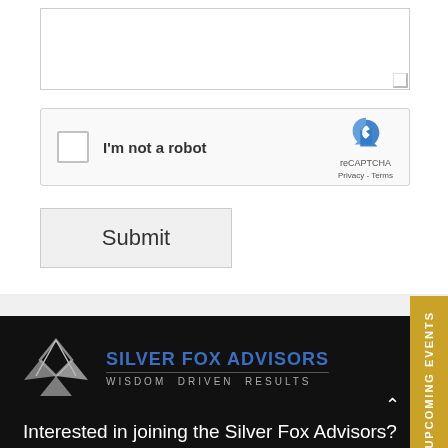[Figure (screenshot): Textarea input field (empty, white background with border and resize handle)]
[Figure (screenshot): reCAPTCHA widget with checkbox labeled 'I'm not a robot' and Google reCAPTCHA logo with Privacy and Terms links]
[Figure (screenshot): Submit button with light gray background]
[Figure (logo): Silver Fox Advisors logo with fox icon and text 'SILVER FOX ADVISORS / WISDOM DRIVEN RESULTS' on dark background]
Interested in joining the Silver Fox Advisors?